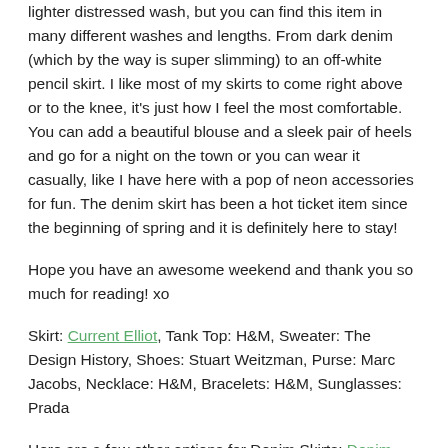lighter distressed wash, but you can find this item in many different washes and lengths. From dark denim (which by the way is super slimming) to an off-white pencil skirt. I like most of my skirts to come right above or to the knee, it's just how I feel the most comfortable. You can add a beautiful blouse and a sleek pair of heels and go for a night on the town or you can wear it casually, like I have here with a pop of neon accessories for fun. The denim skirt has been a hot ticket item since the beginning of spring and it is definitely here to stay!
Hope you have an awesome weekend and thank you so much for reading! xo
Skirt: Current Elliot, Tank Top: H&M, Sweater: The Design History, Shoes: Stuart Weitzman, Purse: Marc Jacobs, Necklace: H&M, Bracelets: H&M, Sunglasses: Prada
Here are a few other options for Denim Skirts: Denim Pencil Skirt in Black:, High Waisted Mini Denim Skirt, High Waisted Blue Denim Pencil Skirt, Dark Blue Denim Midi Skirt